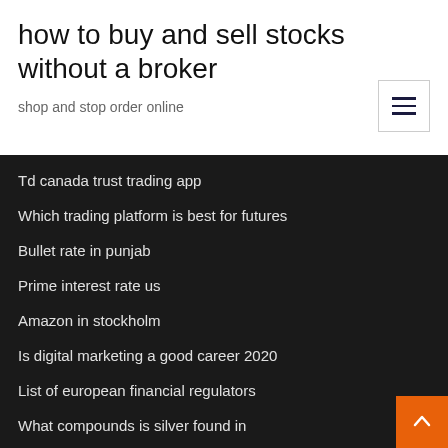how to buy and sell stocks without a broker
shop and stop order online
Td canada trust trading app
Which trading platform is best for futures
Bullet rate in punjab
Prime interest rate us
Amazon in stockholm
Is digital marketing a good career 2020
List of european financial regulators
What compounds is silver found in